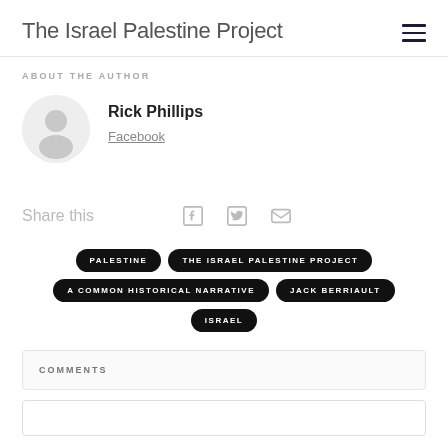The Israel Palestine Project
ABOUT THE AUTHOR
[Figure (illustration): Generic user avatar silhouette in a light gray circle]
Rick Phillips
Facebook
Share this
[Figure (illustration): Social share icons: Facebook, Twitter, Email]
PALESTINE
THE ISRAEL PALESTINE PROJECT
A COMMON HISTORICAL NARRATIVE
JACK BERRIAULT
ISRAEL
COMMENTS